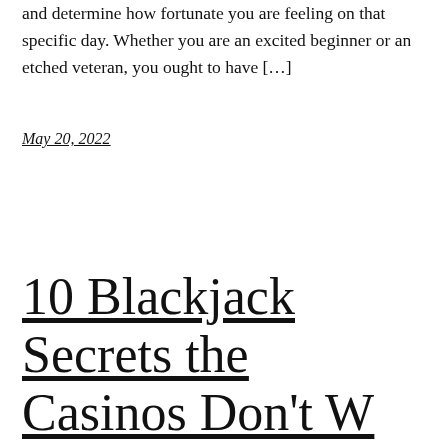and determine how fortunate you are feeling on that specific day. Whether you are an excited beginner or an etched veteran, you ought to have […]
May 20, 2022
10 Blackjack Secrets the Casinos Don't Want You to K…